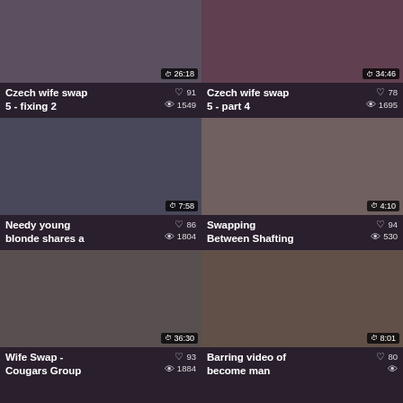[Figure (screenshot): Video thumbnail row 1 left - Czech wife swap 5 fixing 2, duration 26:18]
Czech wife swap 5 - fixing 2  ♡ 91  👁 1549
[Figure (screenshot): Video thumbnail row 1 right - Czech wife swap 5 part 4, duration 34:46]
Czech wife swap 5 - part 4  ♡ 78  👁 1695
[Figure (screenshot): Video thumbnail row 2 left - Needy young blonde shares a, duration 7:58]
Needy young blonde shares a  ♡ 86  👁 1804
[Figure (screenshot): Video thumbnail row 2 right - Swapping Between Shafting, duration 4:10]
Swapping Between Shafting  ♡ 94  👁 530
[Figure (screenshot): Video thumbnail row 3 left - Wife Swap - Cougars Group, duration 36:30]
Wife Swap - Cougars Group  ♡ 93  👁 1884
[Figure (screenshot): Video thumbnail row 3 right - Barring video of become man, duration 8:01]
Barring video of become man  ♡ 80  👁 ?